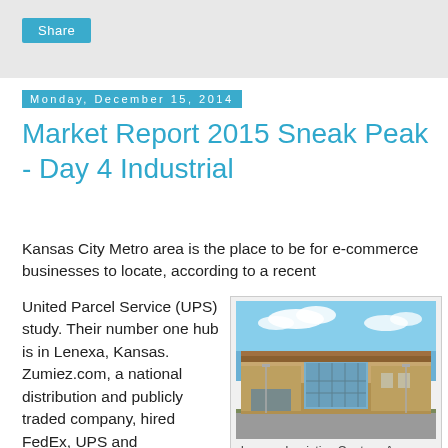[Figure (other): Share button on gray background bar]
Monday, December 15, 2014
Market Report 2015 Sneak Peak - Day 4 Industrial
Kansas City Metro area is the place to be for e-commerce businesses to locate, according to a recent United Parcel Service (UPS) study. Their number one hub is in Lenexa, Kansas. Zumiez.com, a national distribution and publicly traded company, hired FedEx, UPS and
[Figure (photo): Photograph of Lenexa Logistics Centre - Amazon, a large modern industrial/warehouse building with tan and brown exterior, glass entrance, blue sky with clouds]
Lenexa Logistics Centre - Amazon